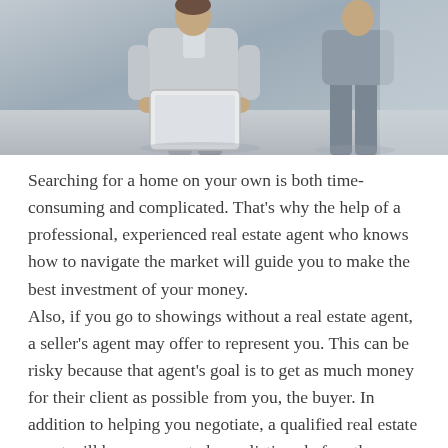[Figure (photo): Two people in a real estate or professional setting — a person in the foreground wearing a light gray blazer holding a tablet/document, and another person in gray pants visible in the background.]
Searching for a home on your own is both time-consuming and complicated. That's why the help of a professional, experienced real estate agent who knows how to navigate the market will guide you to make the best investment of your money.
Also, if you go to showings without a real estate agent, a seller's agent may offer to represent you. This can be risky because that agent's goal is to get as much money for their client as possible from you, the buyer. In addition to helping you negotiate, a qualified real estate agent will have access to home listings before the general public becomes aware of them.